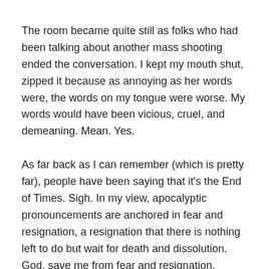The room became quite still as folks who had been talking about another mass shooting ended the conversation. I kept my mouth shut, zipped it because as annoying as her words were, the words on my tongue were worse. My words would have been vicious, cruel, and demeaning. Mean. Yes.
As far back as I can remember (which is pretty far), people have been saying that it's the End of Times. Sigh. In my view, apocalyptic pronouncements are anchored in fear and resignation, a resignation that there is nothing left to do but wait for death and dissolution. God, save me from fear and resignation.
Here's what I believe. Floods, fires, diseases,